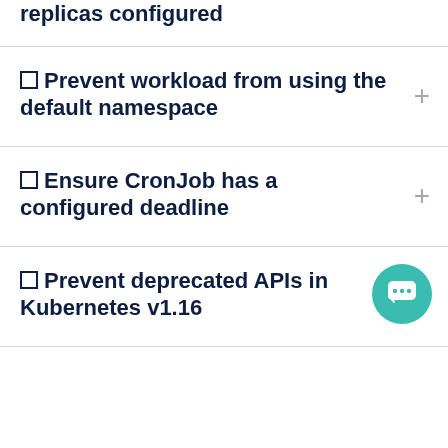replicas configured
Prevent workload from using the default namespace
Ensure CronJob has a configured deadline
Prevent deprecated APIs in Kubernetes v1.16